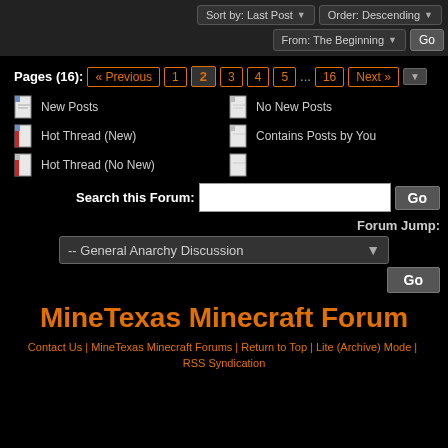Sort by: Last Post | Order: Descending | From: The Beginning | Go
Pages (16): « Previous 1 2 3 4 5 ... 16 Next »
New Posts
No New Posts
Hot Thread (New)
Contains Posts by You
Hot Thread (No New)
Search this Forum: [input] Go
Forum Jump: -- General Anarchy Discussion Go
MineTexas Minecraft Forum
Contact Us | MineTexas Minecraft Forums | Return to Top | Lite (Archive) Mode | RSS Syndication